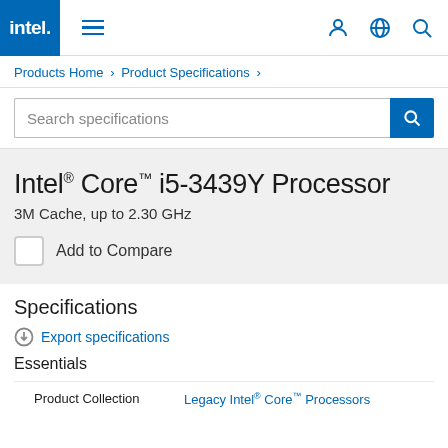[Figure (logo): Intel logo in blue square header with hamburger menu and user/globe/search icons]
Products Home › Product Specifications ›
Search specifications
Intel® Core™ i5-3439Y Processor
3M Cache, up to 2.30 GHz
Add to Compare
Specifications
Export specifications
Essentials
| Product Collection | Legacy Intel® Core™ Processors |
| --- | --- |